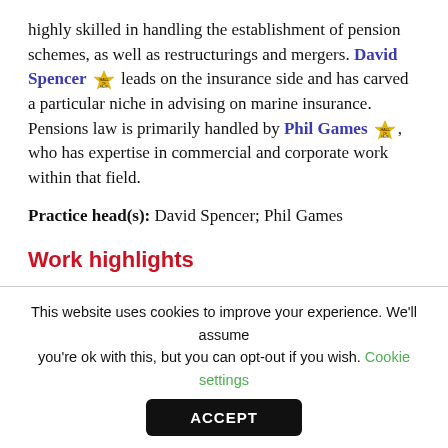highly skilled in handling the establishment of pension schemes, as well as restructurings and mergers. David Spencer [Hall of Fame icon] leads on the insurance side and has carved a particular niche in advising on marine insurance. Pensions law is primarily handled by Phil Games [Hall of Fame icon], who has expertise in commercial and corporate work within that field.
Practice head(s): David Spencer; Phil Games
Work highlights
Advised Equilibrium Pensions Limited on winding up
This website uses cookies to improve your experience. We'll assume you're ok with this, but you can opt-out if you wish. Cookie settings
ACCEPT